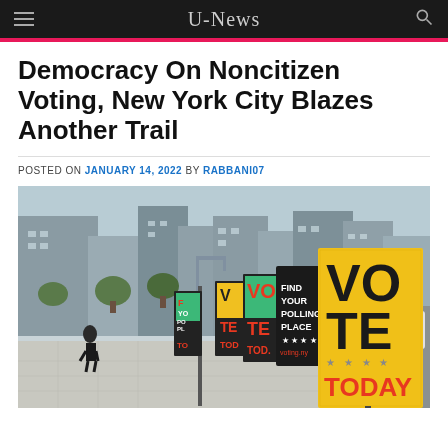U-News
Democracy On Noncitizen Voting, New York City Blazes Another Trail
POSTED ON JANUARY 14, 2022 BY RABBANI07
[Figure (photo): Street scene with a row of VOTE TODAY digital kiosk signs along a city sidewalk, with pedestrians and urban buildings in the background. Signs display 'VOTE TODAY', 'FIND YOUR POLLING PLACE', 'voting.ny' and star decorations.]